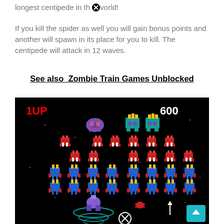longest centipede in the world!
If you kill the spider as well you will gain bonus points and another will spawn in its place for you to kill. The centipede will attack in 12 waves.
See also  Zombie Train Games Unblocked
[Figure (screenshot): Screenshot of a retro arcade game (Galaxian/similar) showing colorful pixel-art alien enemies arranged in rows on a black background. Top-left shows '1UP' in red, top-right shows '600' in white. Bottom center shows a shooter character with a teal circular shield pattern, and a small red enemy to the right. A teal scroll-to-top button is in the bottom-right corner with an up arrow.]